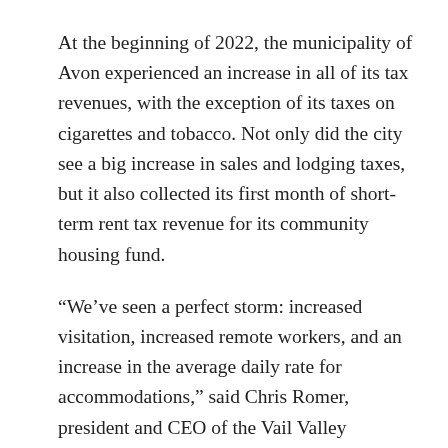At the beginning of 2022, the municipality of Avon experienced an increase in all of its tax revenues, with the exception of its taxes on cigarettes and tobacco. Not only did the city see a big increase in sales and lodging taxes, but it also collected its first month of short-term rent tax revenue for its community housing fund.
“We’ve seen a perfect storm: increased visitation, increased remote workers, and an increase in the average daily rate for accommodations,” said Chris Romer, president and CEO of the Vail Valley Partnership. “People are paying more for accommodation and there is more of it, which then trickles down to the retail, restaurant and grocery sectors.”
Moreover, it is not only the visits that are increasing. Romer said there are more second home owners spending time or moving to Eagle County, bringing additional volume for local professional services.